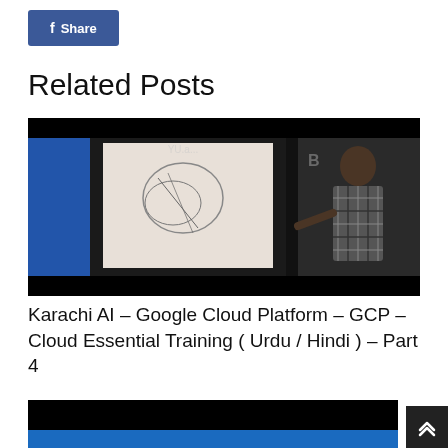[Figure (screenshot): Facebook Share button with blue background and white text]
Related Posts
[Figure (photo): A person standing in front of a whiteboard with diagrams, in a dark lecture room setting. The video thumbnail appears to be from a teaching/training session.]
Karachi AI – Google Cloud Platform – GCP – Cloud Essential Training ( Urdu / Hindi ) – Part 4
[Figure (photo): Another video thumbnail partially visible at the bottom of the page, dark background with blue element at bottom.]